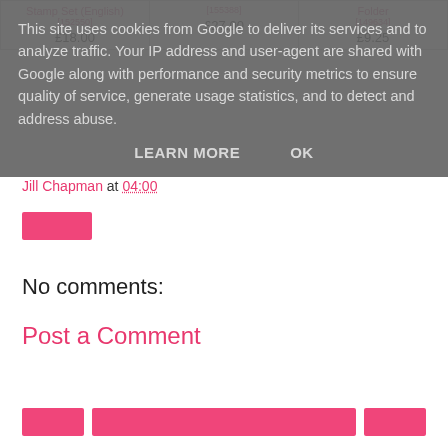This site uses cookies from Google to deliver its services and to analyze traffic. Your IP address and user-agent are shared with Google along with performance and security metrics to ensure quality of service, generate usage statistics, and to detect and address abuse.
LEARN MORE   OK
| Stamp Set (English)
[152550]
£18.00 | [155388]
£27.00 | Folder
[149634]
£9.25 |
Jill Chapman at 04:00
No comments:
Post a Comment